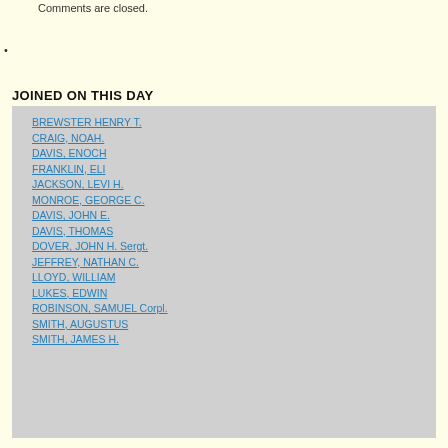Comments are closed.
•
JOINED ON THIS DAY
BREWSTER HENRY T.
CRAIG, NOAH.
DAVIS, ENOCH
FRANKLIN, ELI
JACKSON, LEVI H.
MONROE, GEORGE C.
DAVIS, JOHN E.
DAVIS, THOMAS
DOVER, JOHN H. Sergt.
JEFFREY, NATHAN C.
LLOYD, WILLIAM
LUKES, EDWIN
ROBINSON, SAMUEL Corpl.
SMITH, AUGUSTUS
SMITH, JAMES H.